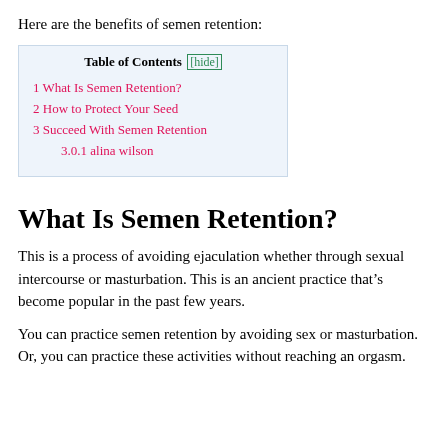Here are the benefits of semen retention:
| Table of Contents |
| --- |
| 1 What Is Semen Retention? |
| 2 How to Protect Your Seed |
| 3 Succeed With Semen Retention |
| 3.0.1 alina wilson |
What Is Semen Retention?
This is a process of avoiding ejaculation whether through sexual intercourse or masturbation. This is an ancient practice that’s become popular in the past few years.
You can practice semen retention by avoiding sex or masturbation. Or, you can practice these activities without reaching an orgasm.